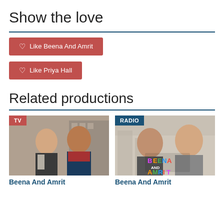Show the love
♡ Like Beena And Amrit
♡ Like Priya Hall
Related productions
[Figure (photo): TV show thumbnail: two women standing outdoors, one younger in a leather jacket, one older in a blue coat and red scarf. Red TV badge in top-left corner.]
Beena And Amrit
[Figure (photo): Radio show thumbnail: two women smiling, overlaid with colorful BEENA AND AMRIT logo text. Blue RADIO badge in top-left corner.]
Beena And Amrit